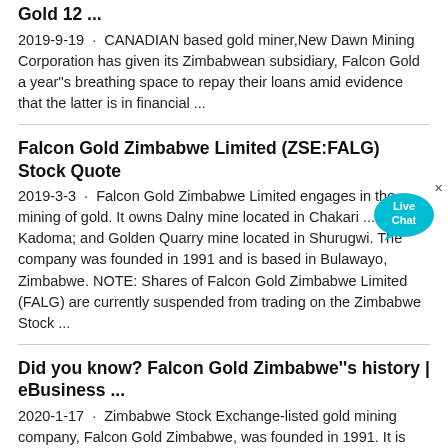Gold 12 ... 2019-9-19 · CANADIAN based gold miner,New Dawn Mining Corporation has given its Zimbabwean subsidiary, Falcon Gold a year''s breathing space to repay their loans amid evidence that the latter is in financial ...
Falcon Gold Zimbabwe Limited (ZSE:FALG) Stock Quote
2019-3-3 · Falcon Gold Zimbabwe Limited engages in the mining of gold. It owns Dalny mine located in Chakari ... Mine in Kadoma; and Golden Quarry mine located in Shurugwi. The company was founded in 1991 and is based in Bulawayo, Zimbabwe. NOTE: Shares of Falcon Gold Zimbabwe Limited (FALG) are currently suspended from trading on the Zimbabwe Stock ...
Did you know? Falcon Gold Zimbabwe''s history | eBusiness ...
2020-1-17 · Zimbabwe Stock Exchange-listed gold mining company, Falcon Gold Zimbabwe, was founded in 1991. It is currently subsidiary to New Dawn Mining Corporation (NDM), a Canadian company listed on the Toronto Stock Exchange and involved in the exploration, development, extraction, processing and reclamation of precious metal ...